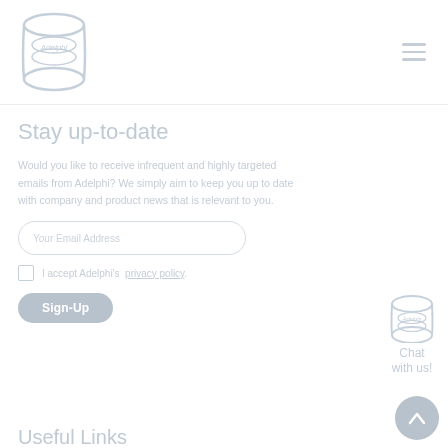[Figure (logo): Adelphi logo — cylindrical tank graphic with 'Adelphi' text, light blue/grey tones]
Stay up-to-date
Would you like to receive infrequent and highly targeted emails from Adelphi? We simply aim to keep you up to date with company and product news that is relevant to you.
Your Email Address
I accept Adelphi's  privacy policy.
Sign-Up
[Figure (logo): Adelphi logo icon for chat widget]
Chat with us!
Useful Links